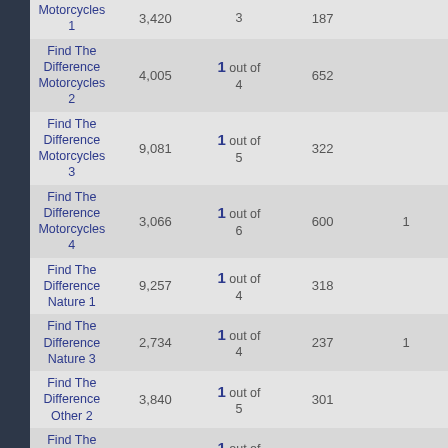| Name | Col2 | Col3 | Col4 | Col5 |
| --- | --- | --- | --- | --- |
| Motorcycles 1 | 3,420 | 3 | 187 |  |
| Find The Difference Motorcycles 2 | 4,005 | 1 out of 4 | 652 |  |
| Find The Difference Motorcycles 3 | 9,081 | 1 out of 5 | 322 |  |
| Find The Difference Motorcycles 4 | 3,066 | 1 out of 6 | 600 | 1 |
| Find The Difference Nature 1 | 9,257 | 1 out of 4 | 318 |  |
| Find The Difference Nature 3 | 2,734 | 1 out of 4 | 237 | 1 |
| Find The Difference Other 2 | 3,840 | 1 out of 5 | 301 |  |
| Find The Difference Other 3 | 2,256 | 1 out of 5 | 304 |  |
| Find The Difference Other 4 | 4,026 | 1 out of 6 | 334 | 1 |
| Find The Difference Sports 2 | 9,535 | 1 out of 4 | 198 |  |
| Find The Goblet | 470,372 | 1 out of 3 | 199 | 1 |
| Find The Golden axe | 313,622 | 1 out of 3 | 278 | 1 |